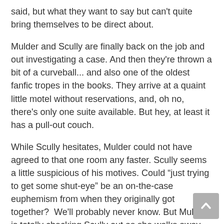said, but what they want to say but can't quite bring themselves to be direct about.
Mulder and Scully are finally back on the job and out investigating a case. And then they're thrown a bit of a curveball... and also one of the oldest fanfic tropes in the books. They arrive at a quaint little motel without reservations, and, oh no, there's only one suite available. But hey, at least it has a pull-out couch.
While Scully hesitates, Mulder could not have agreed to that one room any faster. Scully seems a little suspicious of his motives. Could “just trying to get some shut-eye” be an on-the-case euphemism from when they originally got together?  We'll probably never know. But Mulder is totally checking Scully out as she walks away.
Mulder continues to flirt and drop little hints when they're alone together. Scully continues to brush it off. Professionalism on the case, or confusion about just